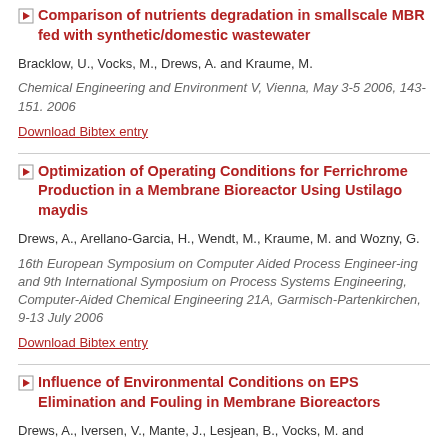Comparison of nutrients degradation in smallscale MBR fed with synthetic/domestic wastewater
Bracklow, U., Vocks, M., Drews, A. and Kraume, M.
Chemical Engineering and Environment V, Vienna, May 3-5 2006, 143-151. 2006
Download Bibtex entry
Optimization of Operating Conditions for Ferrichrome Production in a Membrane Bioreactor Using Ustilago maydis
Drews, A., Arellano-Garcia, H., Wendt, M., Kraume, M. and Wozny, G.
16th European Symposium on Computer Aided Process Engineer-ing and 9th International Symposium on Process Systems Engineering, Computer-Aided Chemical Engineering 21A, Garmisch-Partenkirchen, 9-13 July 2006
Download Bibtex entry
Influence of Environmental Conditions on EPS Elimination and Fouling in Membrane Bioreactors
Drews, A., Iversen, V., Mante, J., Lesjean, B., Vocks, M. and